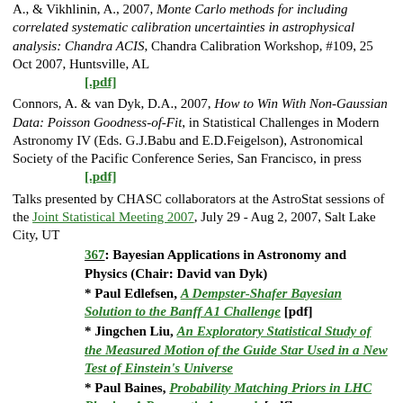A., & Vikhlinin, A., 2007, Monte Carlo methods for including correlated systematic calibration uncertainties in astrophysical analysis: Chandra ACIS, Chandra Calibration Workshop, #109, 25 Oct 2007, Huntsville, AL
[.pdf]
Connors, A. & van Dyk, D.A., 2007, How to Win With Non-Gaussian Data: Poisson Goodness-of-Fit, in Statistical Challenges in Modern Astronomy IV (Eds. G.J.Babu and E.D.Feigelson), Astronomical Society of the Pacific Conference Series, San Francisco, in press
[.pdf]
Talks presented by CHASC collaborators at the AstroStat sessions of the Joint Statistical Meeting 2007, July 29 - Aug 2, 2007, Salt Lake City, UT
367: Bayesian Applications in Astronomy and Physics (Chair: David van Dyk)
* Paul Edlefsen, A Dempster-Shafer Bayesian Solution to the Banff A1 Challenge [pdf]
* Jingchen Liu, An Exploratory Statistical Study of the Measured Motion of the Guide Star Used in a New Test of Einstein's Universe
* Paul Baines, Probability Matching Priors in LHC Physics: A Pragmatic Approach [pdf]